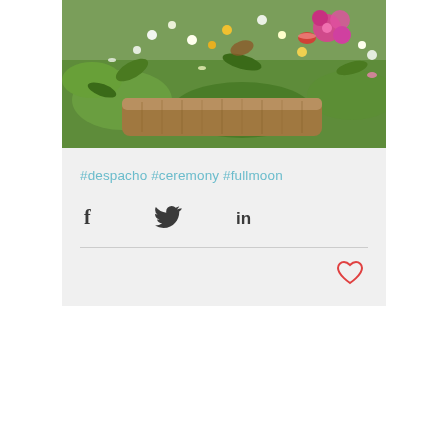[Figure (photo): Outdoor scene showing flowers, leaves, grass, and a weathered wooden log — appears to be a nature ceremony arrangement with pink, white, and yellow flowers scattered on green grass]
#despacho #ceremony #fullmoon
[Figure (infographic): Social share icons: Facebook (f), Twitter (bird), LinkedIn (in)]
[Figure (other): Heart icon (like button) in red/coral outline style]